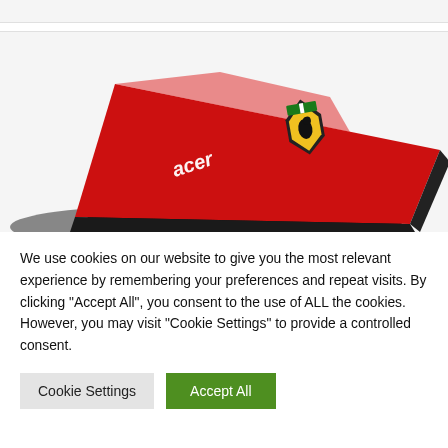[Figure (photo): Red Acer Ferrari branded laptop lid viewed from above at an angle, showing the Acer logo in white text on the left and the Ferrari prancing horse shield logo on the right, on a bright red surface with black trim edges.]
We use cookies on our website to give you the most relevant experience by remembering your preferences and repeat visits. By clicking "Accept All", you consent to the use of ALL the cookies. However, you may visit "Cookie Settings" to provide a controlled consent.
Cookie Settings
Accept All